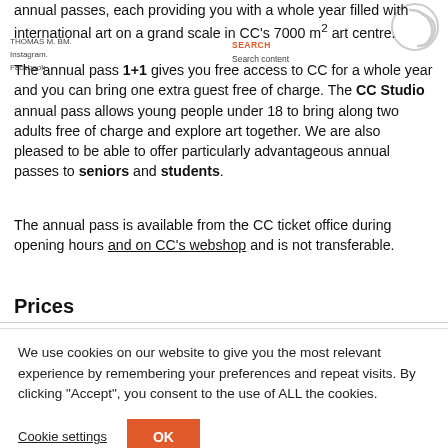annual passes, each providing you with a whole year filled with international art on a grand scale in CC's 7000 m2 art centre.
The annual pass 1+1 gives you free access to CC for a whole year and you can bring one extra guest free of charge. The CC Studio annual pass allows young people under 18 to bring along two adults free of charge and explore art together. We are also pleased to be able to offer particularly advantageous annual passes to seniors and students.
The annual pass is available from the CC ticket office during opening hours and on CC's webshop and is not transferable.
Prices
We use cookies on our website to give you the most relevant experience by remembering your preferences and repeat visits. By clicking "Accept", you consent to the use of ALL the cookies.